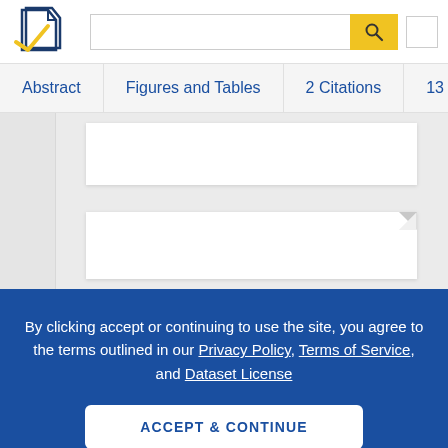[Figure (logo): Semantic Scholar logo — stylized open book pages in dark blue and gold checkmark]
Abstract | Figures and Tables | 2 Citations | 13 Refe
[Figure (other): Two white paper page thumbnails on light gray background, second page has dog-ear corner fold]
By clicking accept or continuing to use the site, you agree to the terms outlined in our Privacy Policy, Terms of Service, and Dataset License
ACCEPT & CONTINUE